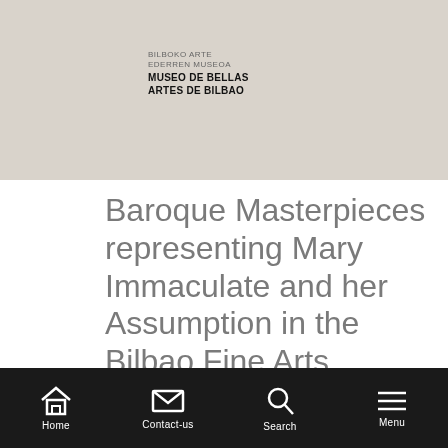[Figure (logo): Bilboko Arte Ederren Museoa / Museo de Bellas Artes de Bilbao logo on beige/taupe background banner]
Baroque Masterpieces representing Mary Immaculate and her Assumption in the Bilbao Fine Arts Museum
Suzanne Stratton-Pruitt
Published in: Buletina = Boletín = Bulletin. Bilbao : Bilboko Arte Ederren Museoa = Museo de Bellas Artes de Bilbao = Bilbao Fine Arts Museum, no.
Home  Contact-us  Search  Menu